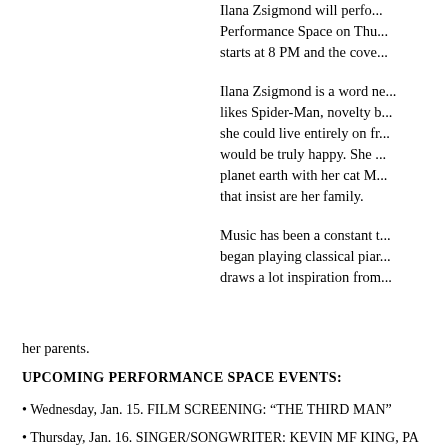Ilana Zsigmond will perform at the Performance Space on Thu... starts at 8 PM and the cover...
Ilana Zsigmond is a word ne... likes Spider-Man, novelty b... she could live entirely on fr... would be truly happy. She ... planet earth with her cat M... that insist are her family.
Music has been a constant t... began playing classical piar... draws a lot inspiration from... her parents.
UPCOMING PERFORMANCE SPACE EVENTS:
• Wednesday, Jan. 15. FILM SCREENING: “THE THIRD MAN”
• Thursday, Jan. 16. SINGER/SONGWRITER: KEVIN MF KING, PA